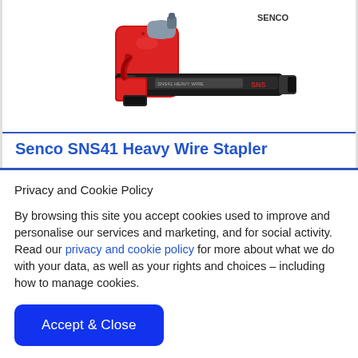[Figure (photo): Photo of a red and grey/black Senco SNS41 Heavy Wire Stapler pneumatic tool, side view on white background]
Senco SNS41 Heavy Wire Stapler
Privacy and Cookie Policy
By browsing this site you accept cookies used to improve and personalise our services and marketing, and for social activity. Read our privacy and cookie policy for more about what we do with your data, as well as your rights and choices – including how to manage cookies.
Accept & Close